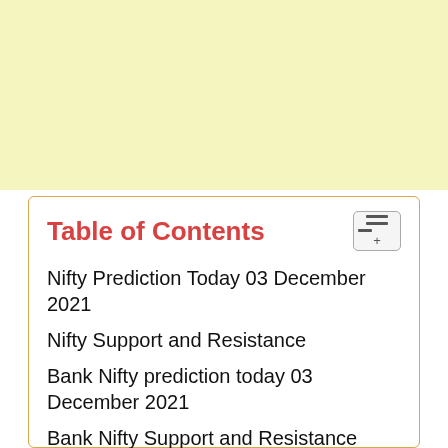[Figure (other): Light yellow advertisement banner area at the top of the page]
Table of Contents
Nifty Prediction Today 03 December 2021
Nifty Support and Resistance
Bank Nifty prediction today 03 December 2021
Bank Nifty Support and Resistance
FIIs and DIIs Data